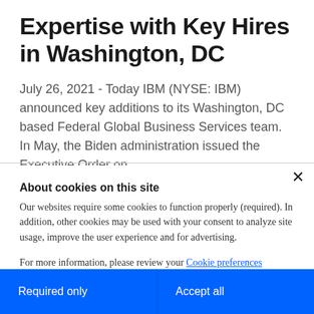Expertise with Key Hires in Washington, DC
July 26, 2021 - Today IBM (NYSE: IBM) announced key additions to its Washington, DC based Federal Global Business Services team. In May, the Biden administration issued the Executive Order on…
About cookies on this site
Our websites require some cookies to function properly (required). In addition, other cookies may be used with your consent to analyze site usage, improve the user experience and for advertising.
For more information, please review your Cookie preferences options and IBM's privacy statement.
Required only
Accept all